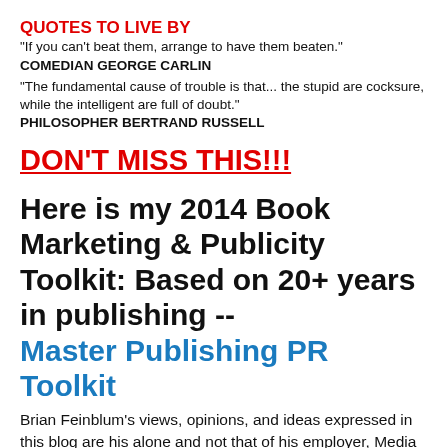QUOTES TO LIVE BY
"If you can't beat them, arrange to have them beaten."
COMEDIAN GEORGE CARLIN
"The fundamental cause of trouble is that... the stupid are cocksure, while the intelligent are full of doubt."
PHILOSOPHER BERTRAND RUSSELL
DON'T MISS THIS!!!
Here is my 2014 Book Marketing & Publicity Toolkit: Based on 20+ years in publishing -- Master Publishing PR Toolkit
Brian Feinblum's views, opinions, and ideas expressed in this blog are his alone and not that of his employer, Media Connect, the nation's largest book promoter. You can follow him on Twitter @theprexpert and email him at brianfeinblum@gmail.com. He feels more important when